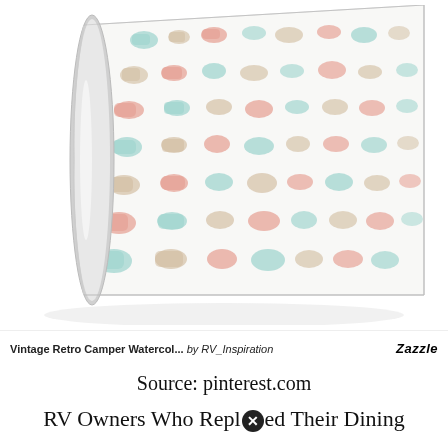[Figure (photo): A roll of wrapping paper featuring a repeating watercolor pattern of vintage retro campers and RVs in teal, coral/red, and cream/beige tones on a white background. The paper is shown partially unrolled.]
Vintage Retro Camper Watercol... by RV_Inspiration  Zazzle
Source: pinterest.com
RV Owners Who Replaced Their Dining